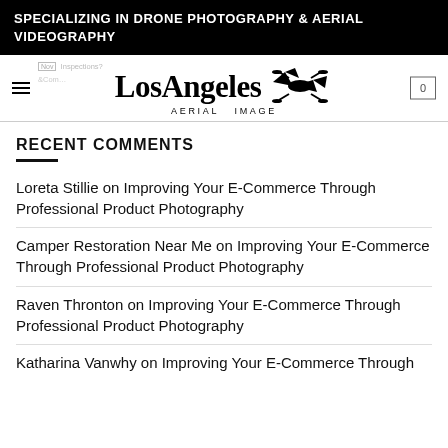SPECIALIZING IN DRONE PHOTOGRAPHY & AERIAL VIDEOGRAPHY
[Figure (logo): Los Angeles Aerial Image logo with drone silhouette and navigation bar with hamburger menu and cart icon showing 0]
RECENT COMMENTS
Loreta Stillie on Improving Your E-Commerce Through Professional Product Photography
Camper Restoration Near Me on Improving Your E-Commerce Through Professional Product Photography
Raven Thronton on Improving Your E-Commerce Through Professional Product Photography
Katharina Vanwhy on Improving Your E-Commerce Through